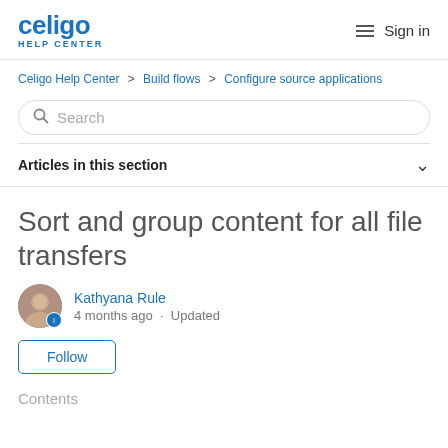celigo HELP CENTER | Sign in
Celigo Help Center > Build flows > Configure source applications
Search
Articles in this section
Sort and group content for all file transfers
Kathyana Rule
4 months ago · Updated
Follow
Contents